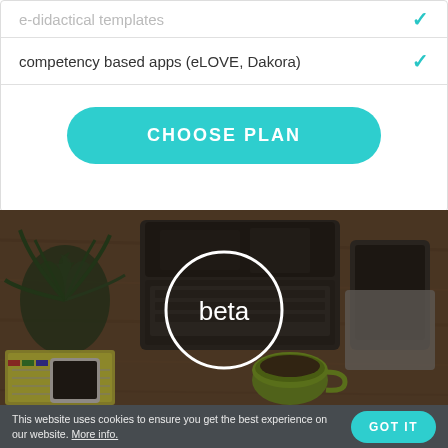e-didactical templates ✓
competency based apps (eLOVE, Dakora) ✓
CHOOSE PLAN
[Figure (photo): Overhead/top-down view of a desk with a laptop, tablet, plant, smartphone, notebook, and coffee cup. A white circle with the word 'beta' is overlaid in the center.]
This website uses cookies to ensure you get the best experience on our website. More info.
GOT IT